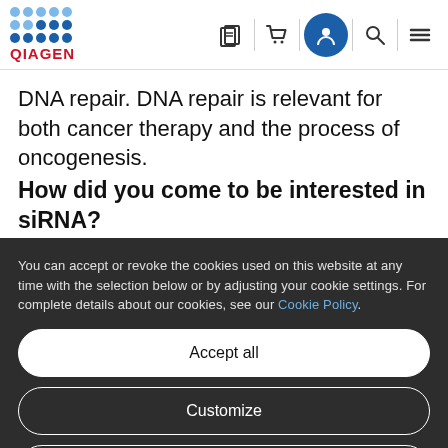QIAGEN navigation bar with logo and icons
DNA repair. DNA repair is relevant for both cancer therapy and the process of oncogenesis.
How did you come to be interested in siRNA?
You can accept or revoke the cookies used on this website at any time with the selection below or by adjusting your cookie settings. For complete details about our cookies, see our Cookie Policy.
Accept all
Customize
Only necessary